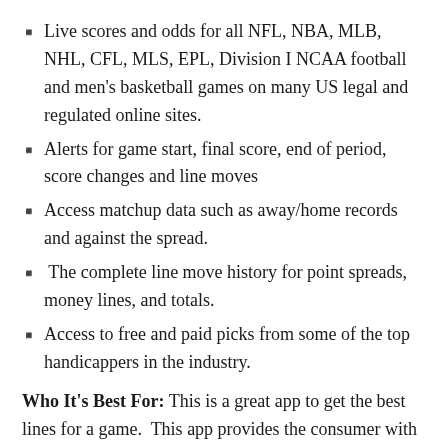Live scores and odds for all NFL, NBA, MLB, NHL, CFL, MLS, EPL, Division I NCAA football and men's basketball games on many US legal and regulated online sites.
Alerts for game start, final score, end of period, score changes and line moves
Access matchup data such as away/home records and against the spread.
The complete line move history for point spreads, money lines, and totals.
Access to free and paid picks from some of the top handicappers in the industry.
Who It's Best For: This is a great app to get the best lines for a game.  This app provides the consumer with a slew of sports betting information such as the move in money line and totals, the multiple lines put out there by books, and more!  The one drawback to this app is that it does not